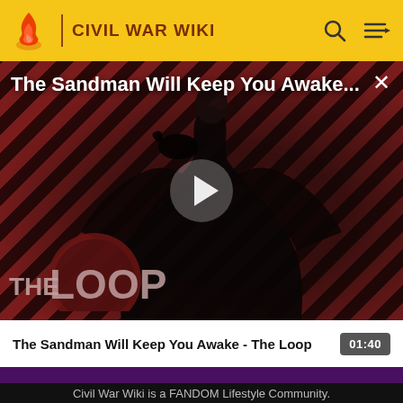CIVIL WAR WIKI
[Figure (screenshot): Video thumbnail showing a figure in dark robes against a diagonal red and black striped background, with 'THE LOOP' branding overlay and a play button in the center. Title text reads 'The Sandman Will Keep You Awake...']
The Sandman Will Keep You Awake - The Loop
01:40
Civil War Wiki is a FANDOM Lifestyle Community.